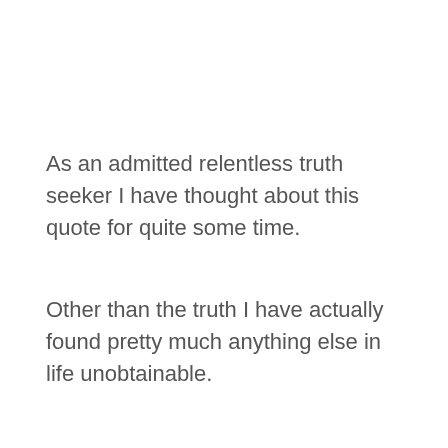As an admitted relentless truth seeker I have thought about this quote for quite some time.
Other than the truth I have actually found pretty much anything else in life unobtainable.